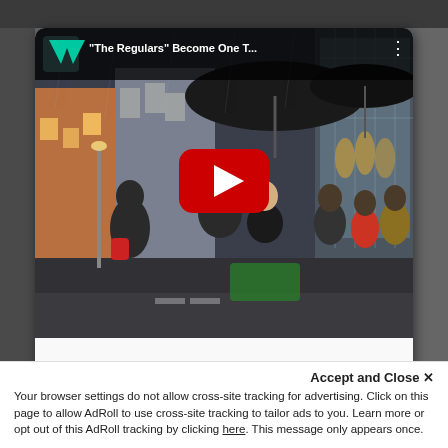[Figure (screenshot): YouTube video thumbnail showing a street scene with people standing in line outside a building in the rain holding umbrellas. The video title reads '"The Regulars" Become One T...' with a YouTube logo (W icon) in the top left and a large red play button in the center.]
Accept and Close ×
Your browser settings do not allow cross-site tracking for advertising. Click on this page to allow AdRoll to use cross-site tracking to tailor ads to you. Learn more or opt out of this AdRoll tracking by clicking here. This message only appears once.